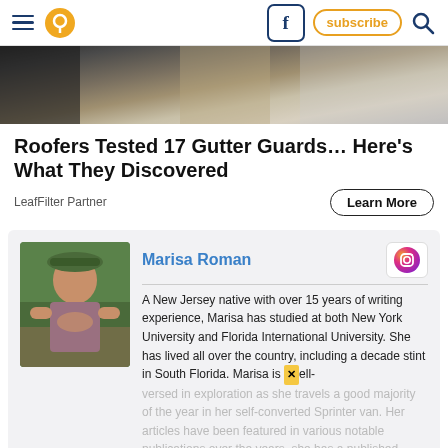Navigation bar with hamburger menu, pin/location icon, Facebook button, subscribe button, search icon
[Figure (photo): Hero image strip showing close-up of gutter with debris and roofing material]
Roofers Tested 17 Gutter Guards… Here's What They Discovered
LeafFilter Partner
Learn More
[Figure (photo): Author photo of Marisa Roman, a woman wearing a hat sitting outdoors]
Marisa Roman
A New Jersey native with over 15 years of writing experience, Marisa has studied at both New York University and Florida International University. She has lived all over the country, including a decade stint in South Florida. Marisa is well-versed in exploration as she travels a good majority of the year in her self-converted Sprinter van. Her articles have been featured in various notable publications over the years, she has a published collection of short stories, and three completed screenplays under her belt.